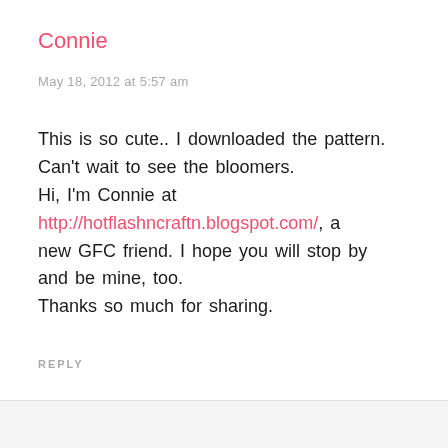Connie
May 18, 2012 at 5:57 am
This is so cute.. I downloaded the pattern. Can't wait to see the bloomers. Hi, I'm Connie at http://hotflashncraftn.blogspot.com/, a new GFC friend. I hope you will stop by and be mine, too. Thanks so much for sharing.
REPLY